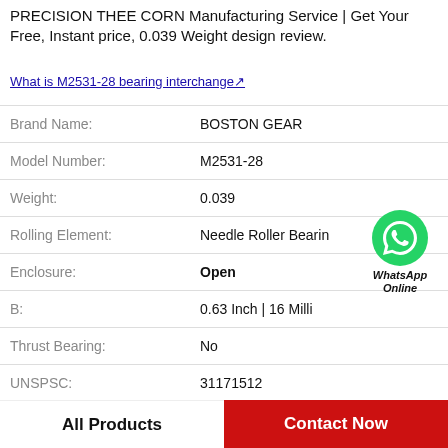PRECISION THEE CORN Manufacturing Service | Get Your Free, Instant price, 0.039 Weight design review.
What is M2531-28 bearing interchange↗
| Attribute | Value |
| --- | --- |
| Brand Name: | BOSTON GEAR |
| Model Number: | M2531-28 |
| Weight: | 0.039 |
| Rolling Element: | Needle Roller Bearin |
| Enclosure: | Open |
| B: | 0.63 Inch | 16 Milli |
| Thrust Bearing: | No |
| UNSPSC: | 31171512 |
[Figure (illustration): WhatsApp Online contact button with green phone icon circle and italic bold label 'WhatsApp Online']
All Products | Contact Now